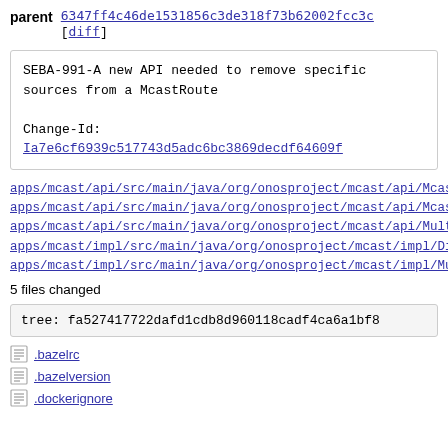parent 6347ff4c46de1531856c3de318f73b62002fcc3c [diff]
SEBA-991-A new API needed to remove specific sources from a McastRoute

Change-Id:
Ia7e6cf6939c517743d5adc6bc3869decdf64609f
apps/mcast/api/src/main/java/org/onosproject/mcast/api/McastR...
apps/mcast/api/src/main/java/org/onosproject/mcast/api/McastSt...
apps/mcast/api/src/main/java/org/onosproject/mcast/api/Multicas...
apps/mcast/impl/src/main/java/org/onosproject/mcast/impl/Distri...
apps/mcast/impl/src/main/java/org/onosproject/mcast/impl/Multi...
5 files changed
tree: fa527417722dafd1cdb8d960118cadf4ca6a1bf8
.bazelrc
.bazelversion
.dockerignore